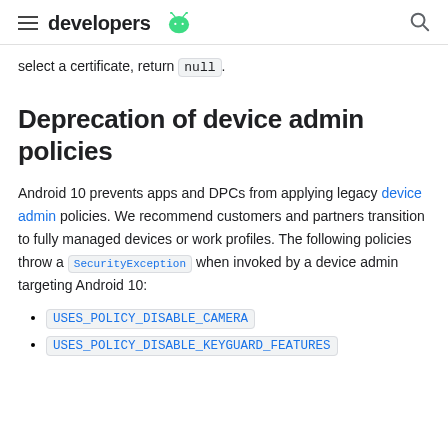developers
select a certificate, return null.
Deprecation of device admin policies
Android 10 prevents apps and DPCs from applying legacy device admin policies. We recommend customers and partners transition to fully managed devices or work profiles. The following policies throw a SecurityException when invoked by a device admin targeting Android 10:
USES_POLICY_DISABLE_CAMERA
USES_POLICY_DISABLE_KEYGUARD_FEATURES